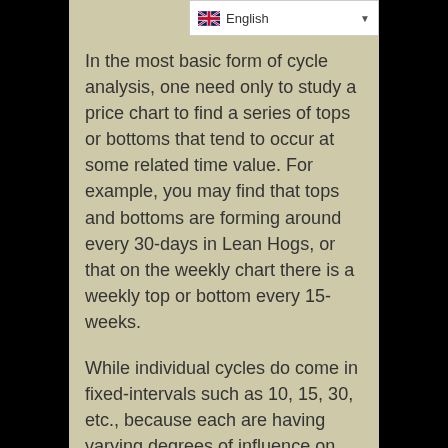English
In the most basic form of cycle analysis, one need only to study a price chart to find a series of tops or bottoms that tend to occur at some related time value. For example, you may find that tops and bottoms are forming around every 30-days in Lean Hogs, or that on the weekly chart there is a weekly top or bottom every 15-weeks.
While individual cycles do come in fixed-intervals such as 10, 15, 30, etc., because each are having varying degrees of influence on any given market at the same time, the resultant price pattern is anything but fixed in its interval of tops and bottoms, with occasional exception.